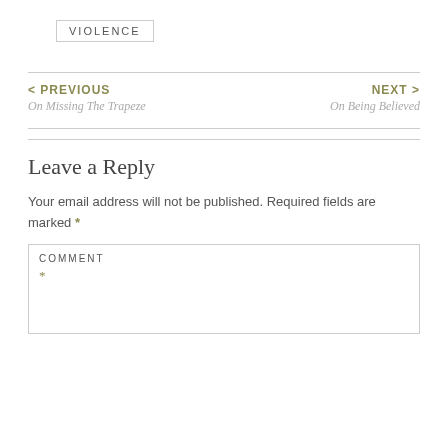VIOLENCE
< PREVIOUS
On Missing The Trapeze
NEXT >
On Being Believed
Leave a Reply
Your email address will not be published. Required fields are marked *
COMMENT
*